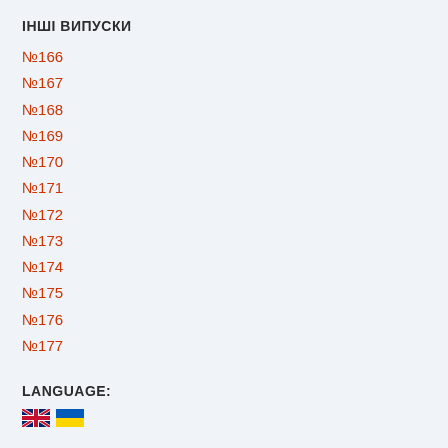ІНШІ ВИПУСКИ
№166
№167
№168
№169
№170
№171
№172
№173
№174
№175
№176
№177
LANGUAGE:
[Figure (other): UK and Ukraine flag icons]